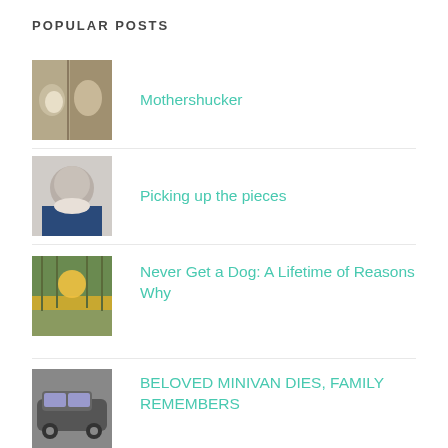POPULAR POSTS
Mothershucker
Picking up the pieces
Never Get a Dog: A Lifetime of Reasons Why
BELOVED MINIVAN DIES, FAMILY REMEMBERS
Triangles
Being Santa